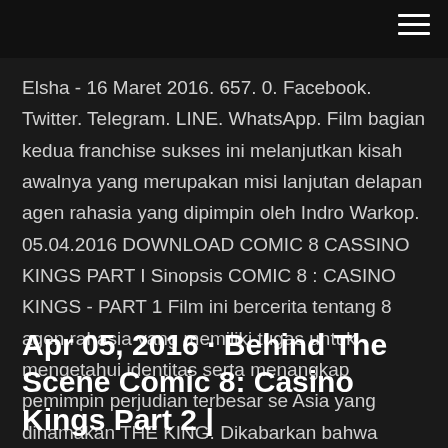Elsha - 16 Maret 2016. 657. 0. Facebook. Twitter. Telegram. LINE. WhatsApp. Film bagian kedua franchise sukses ini melanjutkan kisah awalnya yang merupakan misi lanjutan delapan agen rahasia yang dipimpin oleh Indro Warkop. 05.04.2016 DOWNLOAD COMIC 8 CASSINO KINGS PART I Sinopsis COMIC 8 : CASINO KINGS - PART 1 Film ini bercerita tentang 8 agen rahasia yang memiliki tugas untuk mengetahui identitas serta menangkap pemimpin perjudian terbesar se Asia yang dinamakan THE KING. Dikabarkan bahwa KING sedang mencari komedian terbaik melalui ajang kontes Stand Up Comedi. Oleh…
Apr 05, 2016 · Behind The Scene Comic 8: Casino Kings Part 2 | Bikin Ngakak & Baiko Ditangkap...